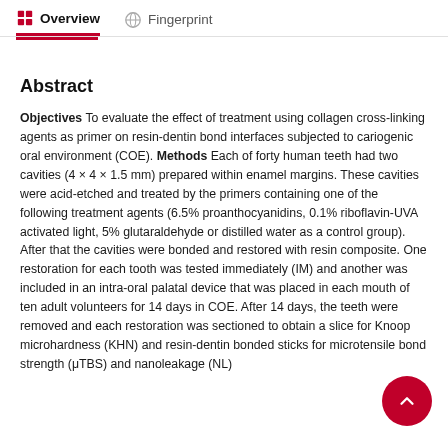Overview   Fingerprint
Abstract
Objectives To evaluate the effect of treatment using collagen cross-linking agents as primer on resin-dentin bond interfaces subjected to cariogenic oral environment (COE). Methods Each of forty human teeth had two cavities (4 × 4 × 1.5 mm) prepared within enamel margins. These cavities were acid-etched and treated by the primers containing one of the following treatment agents (6.5% proanthocyanidins, 0.1% riboflavin-UVA activated light, 5% glutaraldehyde or distilled water as a control group). After that the cavities were bonded and restored with resin composite. One restoration for each tooth was tested immediately (IM) and another was included in an intra-oral palatal device that was placed in each mouth of ten adult volunteers for 14 days in COE. After 14 days, the teeth were removed and each restoration was sectioned to obtain a slice for Knoop microhardness (KHN) and resin-dentin bonded sticks for microtensile bond strength (μTBS) and nanoleakage (NL)